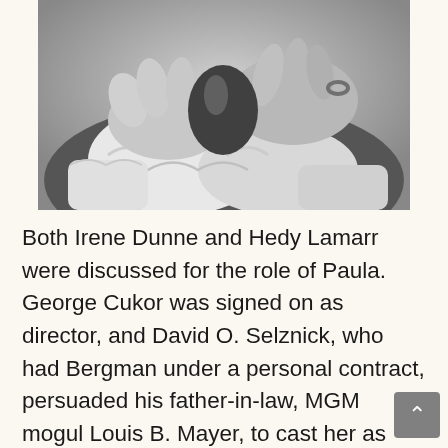[Figure (photo): Black and white photograph showing hands adjusting or fastening clothing near a collar or neckline, with what appears to be a ruffled white fabric. A ring is visible on one of the fingers.]
Both Irene Dunne and Hedy Lamarr were discussed for the role of Paula.  George Cukor was signed on as director, and David O. Selznick, who had Bergman under a personal contract, persuaded his father-in-law, MGM mogul Louis B. Mayer, to cast her as Paula.  The screenplay would be different from the stage play, in that it provided much more of a backstory for the wife